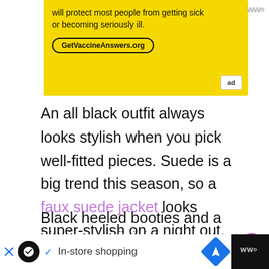[Figure (screenshot): Yellow advertisement banner for GetVaccineAnswers.org with text about vaccines protecting people from getting sick]
An all black outfit always looks stylish when you pick well-fitted pieces. Suede is a big trend this season, so a faux suede jacket looks super-stylish on a night out, especially when paired with faux leather pants or leggings. The different textures create a cool fashion-forward vibe.
Black heeled booties and a black scarf finish this
[Figure (screenshot): Bottom advertisement bar with shopping icon, In-store shopping text, navigation arrow icon, and site logo]